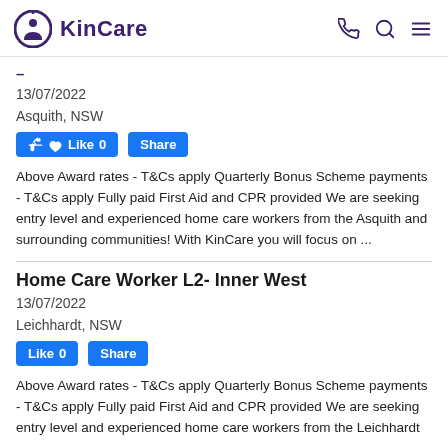KinCare
13/07/2022
Asquith, NSW
Above Award rates - T&Cs apply Quarterly Bonus Scheme payments - T&Cs apply Fully paid First Aid and CPR provided We are seeking entry level and experienced home care workers from the Asquith and surrounding communities! With KinCare you will focus on ...
Home Care Worker L2- Inner West
13/07/2022
Leichhardt, NSW
Above Award rates - T&Cs apply Quarterly Bonus Scheme payments - T&Cs apply Fully paid First Aid and CPR provided We are seeking entry level and experienced home care workers from the Leichhardt